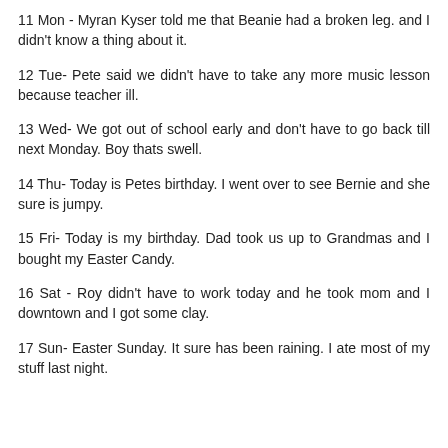11 Mon - Myran Kyser told me that Beanie had a broken leg. and I didn't know a thing about it.
12 Tue- Pete said we didn't have to take any more music lesson because teacher ill.
13 Wed- We got out of school early and don't have to go back till next Monday. Boy thats swell.
14 Thu- Today is Petes birthday. I went over to see Bernie and she sure is jumpy.
15 Fri- Today is my birthday. Dad took us up to Grandmas and I bought my Easter Candy.
16 Sat - Roy didn't have to work today and he took mom and I downtown and I got some clay.
17 Sun- Easter Sunday. It sure has been raining. I ate most of my stuff last night.